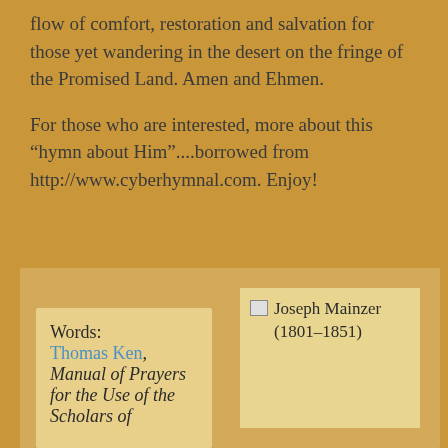flow of comfort, restoration and salvation for those yet wandering in the desert on the fringe of the Promised Land. Amen and Ehmen.
For those who are interested, more about this “hymn about Him”....borrowed from http://www.cyberhymnal.com. Enjoy!
Words: Thomas Ken, Manual of Prayers for the Use of the Scholars of
[Figure (photo): Broken image placeholder for Joseph Mainzer (1801-1851)]